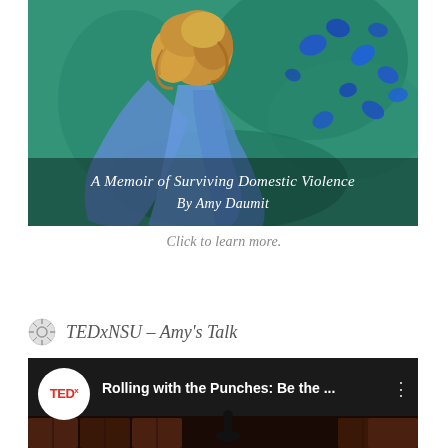[Figure (illustration): Book cover illustration showing a woman with long blonde curly hair wearing a blue dress, seen from behind, against a teal/green painted background with blue scattered petals or stones. Text overlay reads 'A Memoir of Surviving Domestic Violence By Amy Daumit'.]
Click to learn more.
TEDxNSU – Amy's Talk
[Figure (screenshot): YouTube video thumbnail showing a TEDx video titled 'Rolling with the Punches: Be the ...' with the red and white TEDx logo on the left, set against a dark stage background.]